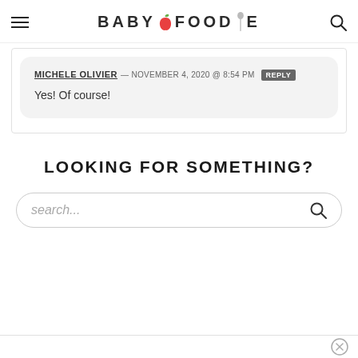BABY FOODIE
MICHELE OLIVIER — NOVEMBER 4, 2020 @ 8:54 PM  REPLY
Yes! Of course!
LOOKING FOR SOMETHING?
search...